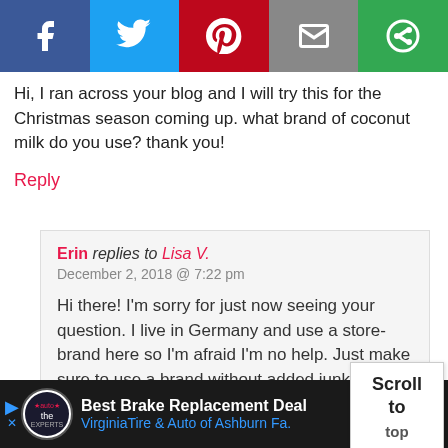[Figure (screenshot): Social media share bar with Facebook, Twitter, Pinterest, Email, and More buttons]
Hi, I ran across your blog and I will try this for the Christmas season coming up. what brand of coconut milk do you use? thank you!
Reply
Erin replies to Lisa V.
December 2, 2018 @ 7:22 pm

Hi there! I'm sorry for just now seeing your question. I live in Germany and use a store-brand here so I'm afraid I'm no help. Just make sure to use a brand without added junk in it. It should just be coconut or coconut + water! Hope you'll enjoy the hot chocolate. :)
Reply
[Figure (screenshot): Advertisement bar: Best Brake Replacement Deal - VirginiaTire & Auto of Ashburn Fa.]